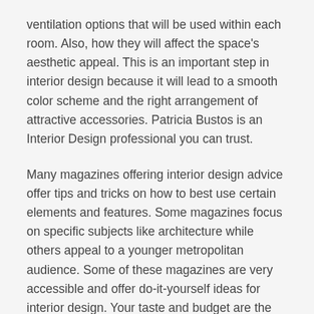ventilation options that will be used within each room. Also, how they will affect the space's aesthetic appeal. This is an important step in interior design because it will lead to a smooth color scheme and the right arrangement of attractive accessories. Patricia Bustos is an Interior Design professional you can trust.
Many magazines offering interior design advice offer tips and tricks on how to best use certain elements and features. Some magazines focus on specific subjects like architecture while others appeal to a younger metropolitan audience. Some of these magazines are very accessible and offer do-it-yourself ideas for interior design. Your taste and budget are the most important factors. However, there are a few things to keep in mind. You can use the Internet to find the best interior design advice.